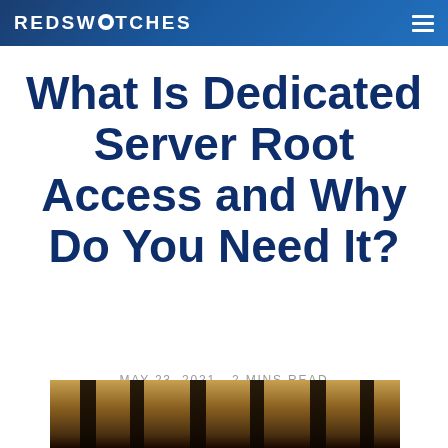REDSWITCHES
What Is Dedicated Server Root Access and Why Do You Need It?
MAY 23, 2021 - 2 MINS READ
[Figure (photo): Bottom portion of a dark textured image, partially visible at the bottom of the page]